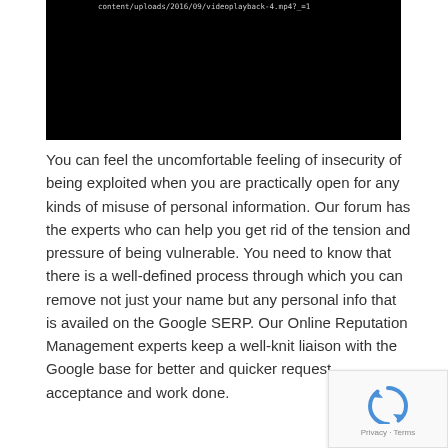[Figure (screenshot): Black video player area with a URL visible at the top: content/uploads/2016/09/videoplayback-4.mp4?_=1]
You can feel the uncomfortable feeling of insecurity of being exploited when you are practically open for any kinds of misuse of personal information. Our forum has the experts who can help you get rid of the tension and pressure of being vulnerable. You need to know that there is a well-defined process through which you can remove not just your name but any personal info that is availed on the Google SERP. Our Online Reputation Management experts keep a well-knit liaison with the Google base for better and quicker request acceptance and work done.